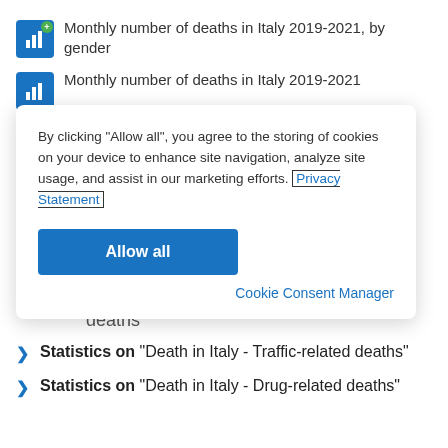Monthly number of deaths in Italy 2019-2021, by gender
Monthly number of deaths in Italy 2019-2021
By clicking “Allow all”, you agree to the storing of cookies on your device to enhance site navigation, analyze site usage, and assist in our marketing efforts. Privacy Statement
Allow all
Cookie Consent Manager
deaths
Statistics on “Death in Italy - Traffic-related deaths”
Statistics on “Death in Italy - Drug-related deaths”